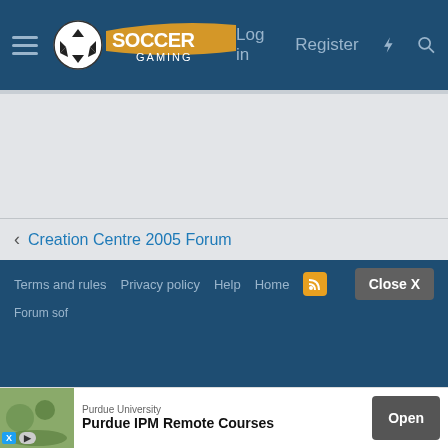Soccer Gaming — Log in | Register
[Figure (screenshot): Large grey empty content area of a forum page]
< Creation Centre 2005 Forum
Terms and rules   Privacy policy   Help   Home   [RSS icon]   Close X
Forum software
[Figure (infographic): Advertisement banner: Purdue IPM Remote Courses by Purdue University, with Open button]